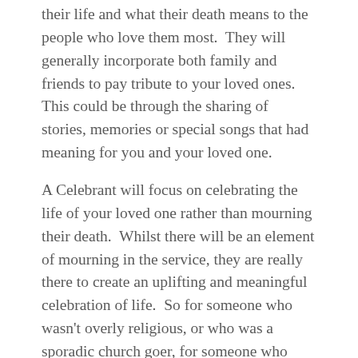their life and what their death means to the people who love them most.  They will generally incorporate both family and friends to pay tribute to your loved ones.  This could be through the sharing of stories, memories or special songs that had meaning for you and your loved one.
A Celebrant will focus on celebrating the life of your loved one rather than mourning their death.  Whilst there will be an element of mourning in the service, they are really there to create an uplifting and meaningful celebration of life.  So for someone who wasn't overly religious, or who was a sporadic church goer, for someone who really didn't have a religious belief system, or for more of a life celebration, a Celebrant is a great choice.